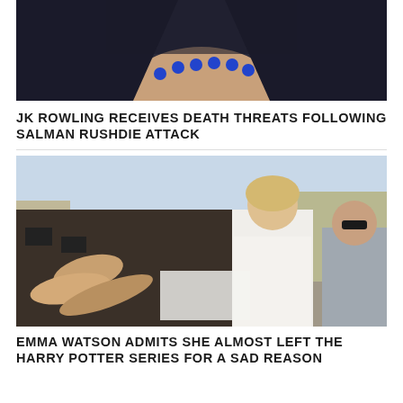[Figure (photo): Close-up photo of a woman wearing a dark top and blue beaded necklace, cropped at chin level]
JK ROWLING RECEIVES DEATH THREATS FOLLOWING SALMAN RUSHDIE ATTACK
[Figure (photo): Outdoor photo of a blonde woman in a white dress signing autographs for a crowd of fans and photographers on a sunny street]
EMMA WATSON ADMITS SHE ALMOST LEFT THE HARRY POTTER SERIES FOR A SAD REASON